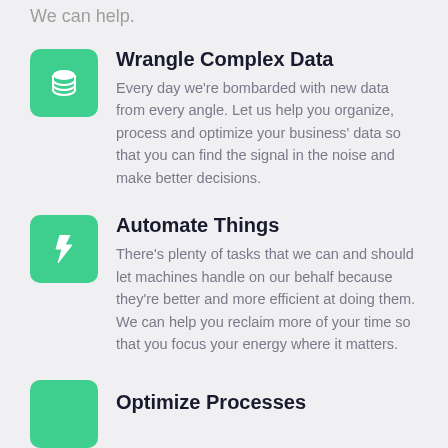We can help.
Wrangle Complex Data
Every day we're bombarded with new data from every angle. Let us help you organize, process and optimize your business' data so that you can find the signal in the noise and make better decisions.
Automate Things
There's plenty of tasks that we can and should let machines handle on our behalf because they're better and more efficient at doing them. We can help you reclaim more of your time so that you focus your energy where it matters.
Optimize Processes